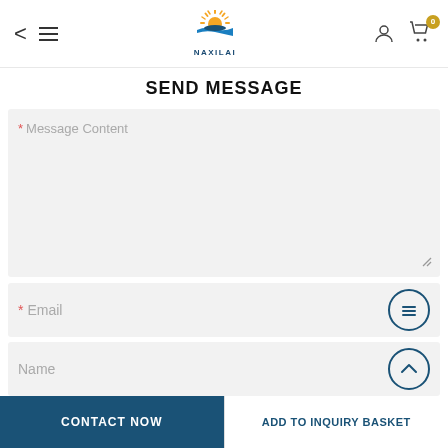NAXILAI - Navigation header with back, menu, logo, user icon, cart (0)
SEND MESSAGE
* Message Content (textarea field)
* Email (input field)
Name (input field)
CONTACT NOW
ADD TO INQUIRY BASKET